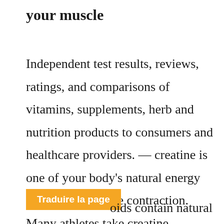your muscle
Independent test results, reviews, ratings, and comparisons of vitamins, supplements, herb and nutrition products to consumers and healthcare providers. — creatine is one of your body's natural energy sources for muscle contraction. Many athletes take creatine supplements to aid their workout,. Legal steroids are dietary supplements that offer men a natural alternative to anabolic steroids.
Traduire la page
oids contain natural